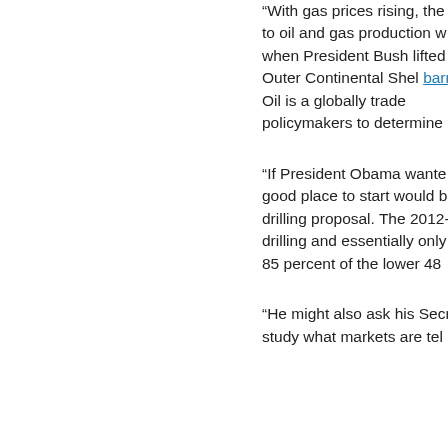“With gas prices rising, the P to oil and gas production w when President Bush lifted the Outer Continental Shel barrel. Oil is a globally trade policymakers to determine
“If President Obama wante good place to start would b drilling proposal. The 2012- drilling and essentially only a 85 percent of the lower 48
“He might also ask his Secre study what markets are tel